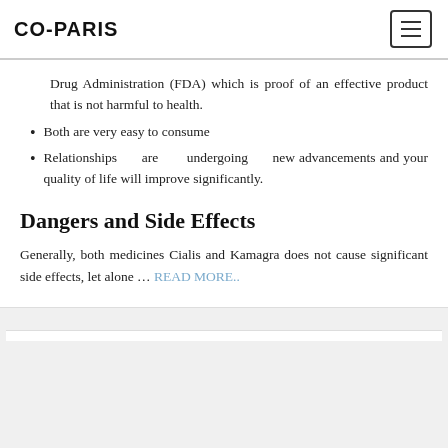CO-PARIS
Drug Administration (FDA) which is proof of an effective product that is not harmful to health.
Both are very easy to consume
Relationships are undergoing new advancements and your quality of life will improve significantly.
Dangers and Side Effects
Generally, both medicines Cialis and Kamagra does not cause significant side effects, let alone … READ MORE..